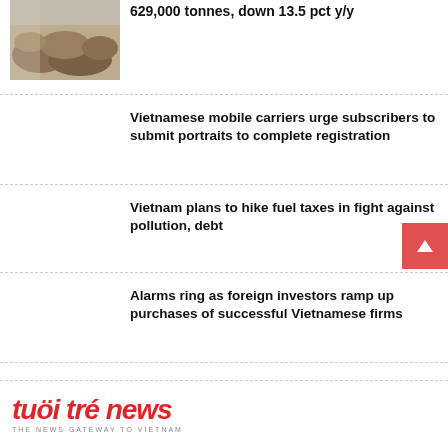[Figure (photo): Photo of cashews or dried beans/nuts piled up]
629,000 tonnes, down 13.5 pct y/y
Vietnamese mobile carriers urge subscribers to submit portraits to complete registration
Vietnam plans to hike fuel taxes in fight against pollution, debt
Alarms ring as foreign investors ramp up purchases of successful Vietnamese firms
[Figure (logo): Tuoi Tre News logo — red italic text with tagline THE NEWS GATEWAY TO VIETNAM]